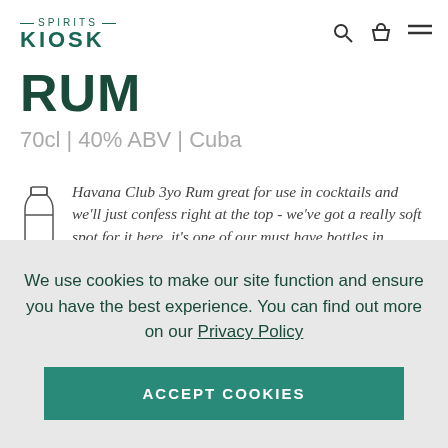SPIRITS KIOSK
RUM
70cl | 40% ABV | Cuba
Havana Club 3yo Rum great for use in cocktails and we'll just confess right at the top - we've got a really soft spot for it here, it's one of our must have bottles in
We use cookies to make our site function and ensure you have the best experience. You can find out more on our Privacy Policy
ACCEPT COOKIES